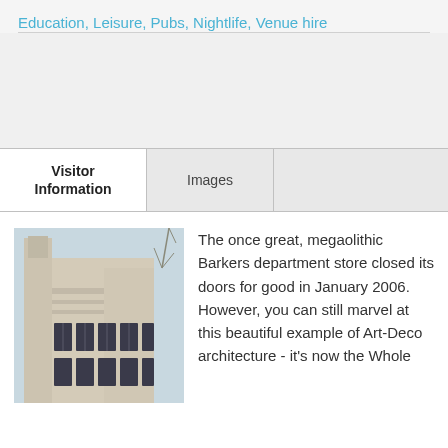Education, Leisure, Pubs, Nightlife, Venue hire
Visitor Information | Images
[Figure (photo): Exterior of an Art-Deco building, showing the upper facade with geometric architectural details and large windows with dark frames, against a light sky with bare tree branches visible.]
The once great, megaolithic Barkers department store closed its doors for good in January 2006. However, you can still marvel at this beautiful example of Art-Deco architecture - it's now the Whole